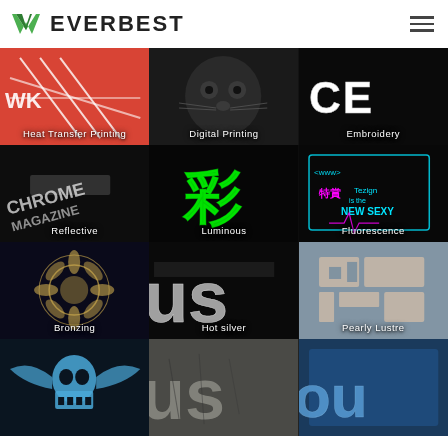EVERBEST
[Figure (photo): Heat Transfer Printing - red graphic on white fabric with diamond pattern]
[Figure (photo): Digital Printing - close-up of a black cat face]
[Figure (photo): Embroidery - white raised letters on black fabric]
[Figure (photo): Reflective - chrome magazine logo with reflective finish on black]
[Figure (photo): Luminous - green glowing Chinese character on black]
[Figure (photo): Fluorescence - neon glowing text and graphics on black]
[Figure (photo): Bronzing - gold foil floral design on dark fabric]
[Figure (photo): Hot silver - silver metallic letters on black fabric]
[Figure (photo): Pearly Lustre - pearlescent cut shapes on denim fabric]
[Figure (photo): Blue skull with wings design on fabric]
[Figure (photo): Gray cracked texture letters on fabric]
[Figure (photo): Blue and gray circular design on fabric]